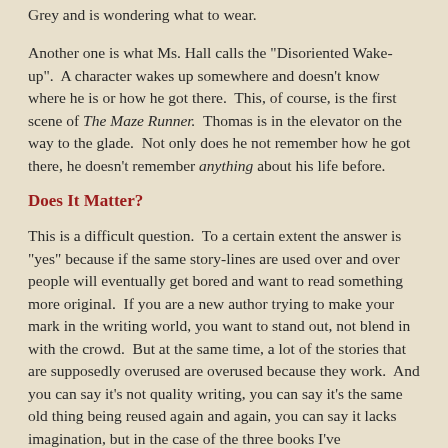Grey and is wondering what to wear.
Another one is what Ms. Hall calls the "Disoriented Wake-up". A character wakes up somewhere and doesn't know where he is or how he got there. This, of course, is the first scene of The Maze Runner. Thomas is in the elevator on the way to the glade. Not only does he not remember how he got there, he doesn't remember anything about his life before.
Does It Matter?
This is a difficult question. To a certain extent the answer is "yes" because if the same story-lines are used over and over people will eventually get bored and want to read something more original. If you are a new author trying to make your mark in the writing world, you want to stand out, not blend in with the crowd. But at the same time, a lot of the stories that are supposedly overused are overused because they work. And you can say it's not quality writing, you can say it's the same old thing being reused again and again, you can say it lacks imagination, but in the case of the three books I've